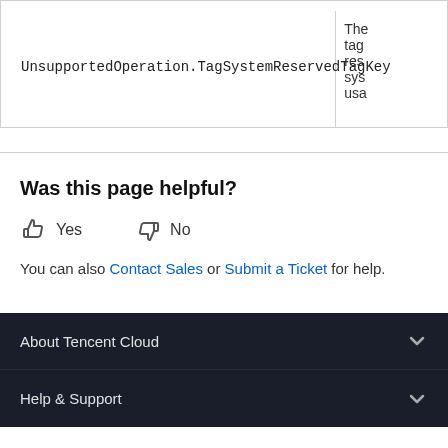| Error Code | Description |
| --- | --- |
| UnsupportedOperation.TagSystemReservedTagKey | The tag key is reserved for system use. |
Was this page helpful?
Yes   No
You can also Contact Sales or Submit a Ticket for help.
About Tencent Cloud
Help & Support